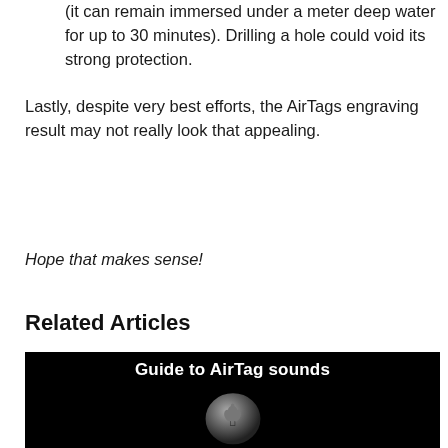(it can remain immersed under a meter deep water for up to 30 minutes). Drilling a hole could void its strong protection.
Lastly, despite very best efforts, the AirTags engraving result may not really look that appealing.
Hope that makes sense!
Related Articles
[Figure (screenshot): Dark thumbnail image with text 'Guide to AirTag sounds' and a silver AirTag device with Apple logo below the text.]